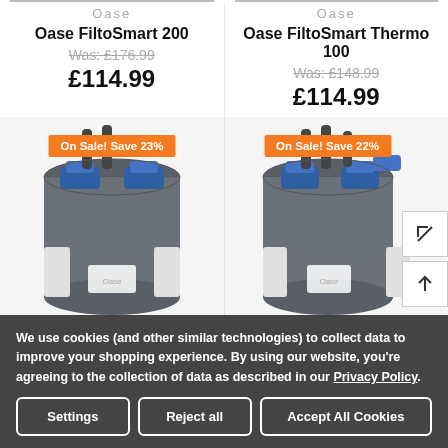Oase
Oase FiltoSmart 200
Was: £176.99
£114.99
Oase
Oase FiltoSmart Thermo 100
Was: £148.99
£114.99
[Figure (photo): Oase FiltoSmart 200 canister filter with blue clips, sale badge 'On Sale! Save 23%']
[Figure (photo): Oase FiltoSmart Thermo 100 canister filter with blue clips, sale badge 'On Sale! Save 22%']
We use cookies (and other similar technologies) to collect data to improve your shopping experience. By using our website, you're agreeing to the collection of data as described in our Privacy Policy.
Settings
Reject all
Accept All Cookies